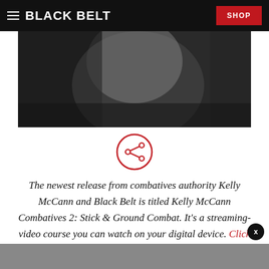BLACK BELT  SHOP
[Figure (photo): Grayscale photo of a person, partially visible, cropped at the top of the page]
[Figure (other): Share icon: circle with a network/share symbol in red outline]
The newest release from combatives authority Kelly McCann and Black Belt is titled Kelly McCann Combatives 2: Stick & Ground Combat. It's a streaming-video course you can watch on your digital device. Click here to watch the trailer and then sign up.